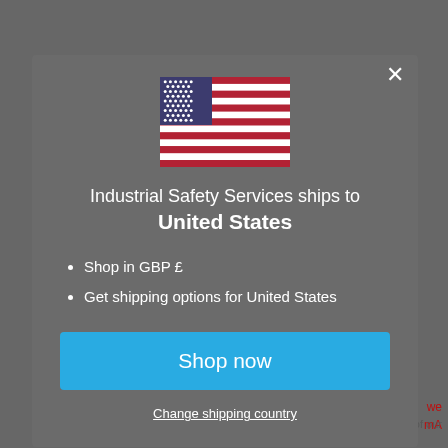[Figure (screenshot): Background website page showing Industrial Safety Services (ISS) website with red logo text partially visible and footer text 'products. Email us: help@isscompete.com']
[Figure (illustration): US flag icon centered in modal dialog]
Industrial Safety Services ships to
United States
Shop in GBP £
Get shipping options for United States
Shop now
Change shipping country